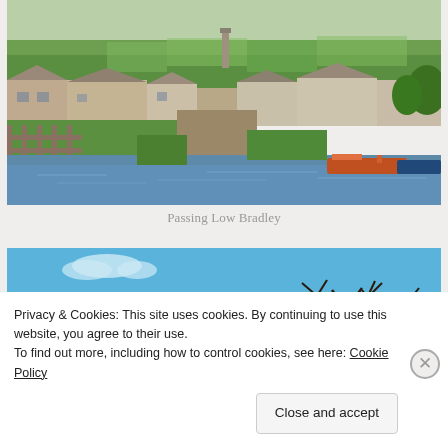[Figure (photo): Aerial/landscape photo of a village (Low Bradley) with stone buildings, green fields, a canal or river with narrow boats, and a chimney stack in the background against green hills.]
Passing Low Bradley
[Figure (photo): Second landscape photo partially visible showing blue sky and bare trees reflected in water.]
Privacy & Cookies: This site uses cookies. By continuing to use this website, you agree to their use.
To find out more, including how to control cookies, see here: Cookie Policy
Close and accept